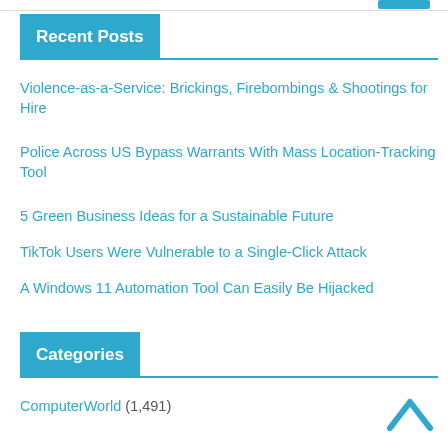Recent Posts
Violence-as-a-Service: Brickings, Firebombings & Shootings for Hire
Police Across US Bypass Warrants With Mass Location-Tracking Tool
5 Green Business Ideas for a Sustainable Future
TikTok Users Were Vulnerable to a Single-Click Attack
A Windows 11 Automation Tool Can Easily Be Hijacked
Categories
ComputerWorld (1,491)